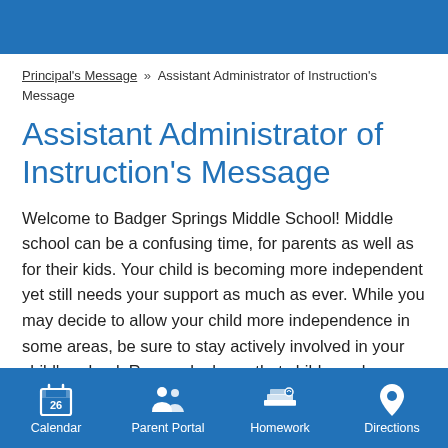Principal's Message » Assistant Administrator of Instruction's Message
Assistant Administrator of Instruction's Message
Welcome to Badger Springs Middle School! Middle school can be a confusing time, for parents as well as for their kids. Your child is becoming more independent yet still needs your support as much as ever. While you may decide to allow your child more independence in some areas, be sure to stay actively involved in your child's school. Research shows that children whose parents are engaged in their education are more likely
Calendar  Parent Portal  Homework  Directions